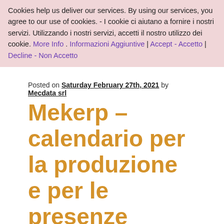Cookies help us deliver our services. By using our services, you agree to our use of cookies. - I cookie ci aiutano a fornire i nostri servizi. Utilizzando i nostri servizi, accetti il nostro utilizzo dei cookie. More Info . Informazioni Aggiuntive | Accept - Accetto | Decline - Non Accetto
Posted on Saturday February 27th, 2021 by Mecdata srl
Mekerp – calendario per la produzione e per le presenze
Sorry, this entry is only available in Italian.